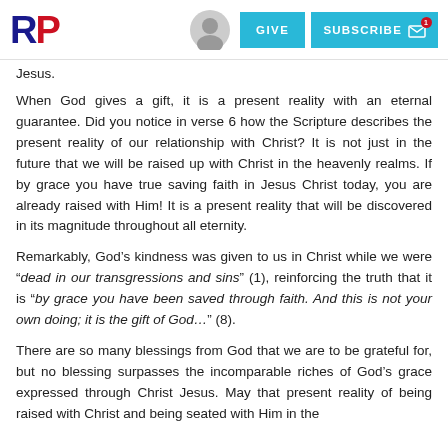RP | GIVE | SUBSCRIBE
Jesus.
When God gives a gift, it is a present reality with an eternal guarantee. Did you notice in verse 6 how the Scripture describes the present reality of our relationship with Christ? It is not just in the future that we will be raised up with Christ in the heavenly realms. If by grace you have true saving faith in Jesus Christ today, you are already raised with Him! It is a present reality that will be discovered in its magnitude throughout all eternity.
Remarkably, God’s kindness was given to us in Christ while we were “dead in our transgressions and sins” (1), reinforcing the truth that it is “by grace you have been saved through faith. And this is not your own doing; it is the gift of God…” (8).
There are so many blessings from God that we are to be grateful for, but no blessing surpasses the incomparable riches of God’s grace expressed through Christ Jesus. May that present reality of being raised with Christ and being seated with Him in the heavenly realms still inform its richness and greatness to us.